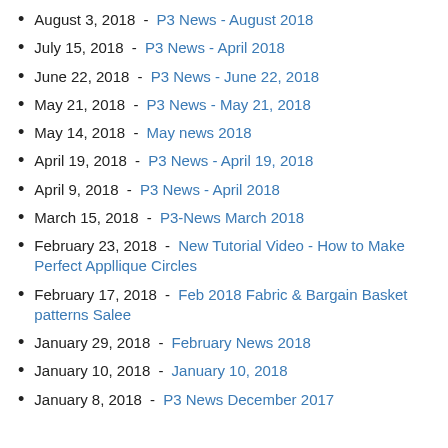August 3, 2018 - P3 News - August 2018
July 15, 2018 - P3 News - April 2018
June 22, 2018 - P3 News - June 22, 2018
May 21, 2018 - P3 News - May 21, 2018
May 14, 2018 - May news 2018
April 19, 2018 - P3 News - April 19, 2018
April 9, 2018 - P3 News - April 2018
March 15, 2018 - P3-News March 2018
February 23, 2018 - New Tutorial Video - How to Make Perfect Appllique Circles
February 17, 2018 - Feb 2018 Fabric & Bargain Basket patterns Salee
January 29, 2018 - February News 2018
January 10, 2018 - January 10, 2018
January 8, 2018 - P3 News December 2017